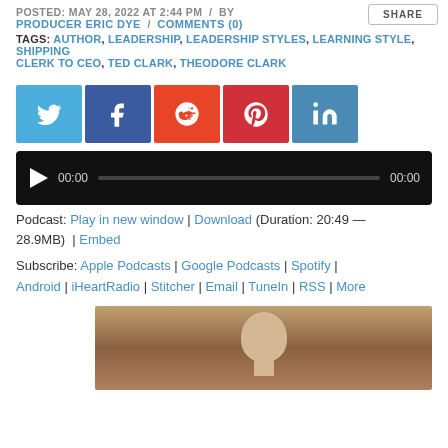POSTED: MAY 28, 2022 AT 2:44 PM / BY PRODUCER ERIC DYE / COMMENTS (0)
TAGS: AUTHOR, LEADERSHIP, LEADERSHIP STYLES, LEARNING STYLE, SHIPPING CLERK TO CEO, TED CLARK, THEODORE CLARK
[Figure (infographic): Social share buttons: Twitter (blue), Facebook (dark blue), Reddit (orange), Pinterest (red), LinkedIn (light blue)]
[Figure (screenshot): Audio player with play button, time 00:00, progress bar, end time 00:00, dark background]
Podcast: Play in new window | Download (Duration: 20:49 — 28.9MB) | Embed
Subscribe: Apple Podcasts | Google Podcasts | Spotify | Android | iHeartRadio | Stitcher | Email | TuneIn | RSS | More
[Figure (photo): Close-up photo of a person's head and face]